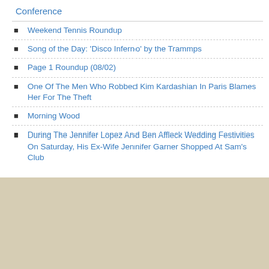Conference
Weekend Tennis Roundup
Song of the Day: 'Disco Inferno' by the Trammps
Page 1 Roundup (08/02)
One Of The Men Who Robbed Kim Kardashian In Paris Blames Her For The Theft
Morning Wood
During The Jennifer Lopez And Ben Affleck Wedding Festivities On Saturday, His Ex-Wife Jennifer Garner Shopped At Sam's Club
[Figure (other): Tan/beige advertisement or banner area at the bottom of the page with a close (x) button in the top-left corner.]